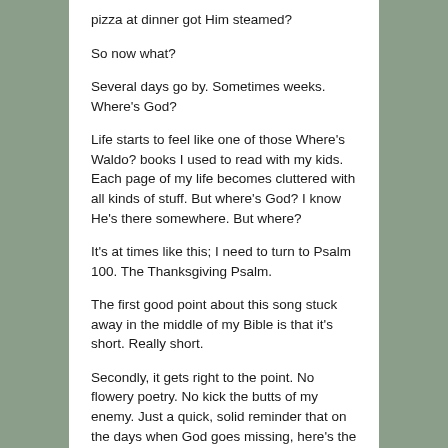pizza at dinner got Him steamed?
So now what?
Several days go by. Sometimes weeks. Where's God?
Life starts to feel like one of those Where's Waldo? books I used to read with my kids. Each page of my life becomes cluttered with all kinds of stuff. But where's God? I know He's there somewhere. But where?
It's at times like this; I need to turn to Psalm 100. The Thanksgiving Psalm.
The first good point about this song stuck away in the middle of my Bible is that it's short. Really short.
Secondly, it gets right to the point. No flowery poetry. No kick the butts of my enemy. Just a quick, solid reminder that on the days when God goes missing, here's the magic bullet that can solve my aloneness.